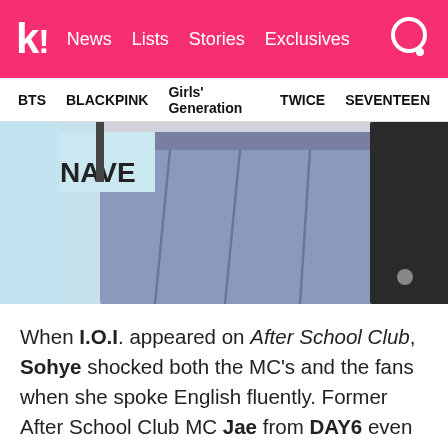koreaboo | News  Lists  Stories  Exclusives
BTS  BLACKPINK  Girls' Generation  TWICE  SEVENTEEN
[Figure (photo): Close-up photo of a person wearing a blue/grey pleated skirt and white top, with a 'NAVER' sign in the background and another person partially visible on the right.]
When I.O.I. appeared on After School Club, Sohye shocked both the MC's and the fans when she spoke English fluently. Former After School Club MC Jae from DAY6 even asked where she was from, to which she responded that she was from Korea. Though it's unconfirmed where she learned English, people